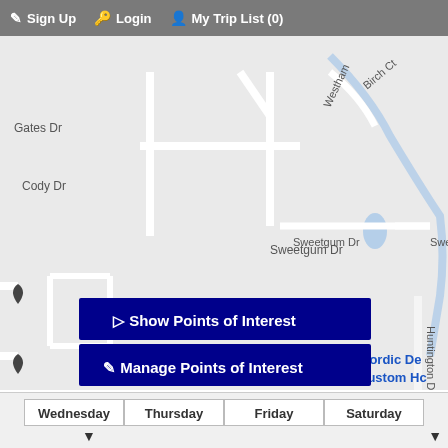Sign Up   Login   My Trip List (0)
[Figure (map): Street map showing Gates Dr, Cody Dr, Sweetgum Dr, Sweetgum Ct, Westham, Birch Ct, Huntington Dr, Nordic De Custom Hc labels with roads on light gray background and a blue water feature]
Show Points of Interest
Manage Points of Interest
Wednesday   Thursday   Friday   Saturday